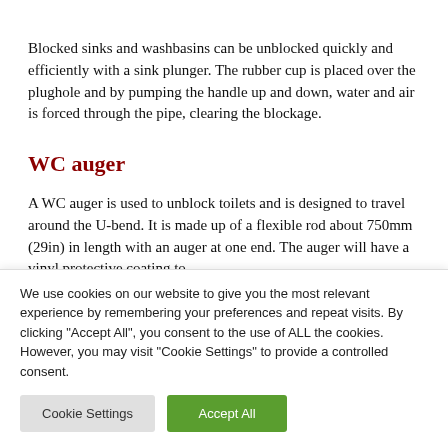Blocked sinks and washbasins can be unblocked quickly and efficiently with a sink plunger. The rubber cup is placed over the plughole and by pumping the handle up and down, water and air is forced through the pipe, clearing the blockage.
WC auger
A WC auger is used to unblock toilets and is designed to travel around the U-bend. It is made up of a flexible rod about 750mm (29in) in length with an auger at one end. The auger will have a vinyl protective coating to...
We use cookies on our website to give you the most relevant experience by remembering your preferences and repeat visits. By clicking "Accept All", you consent to the use of ALL the cookies. However, you may visit "Cookie Settings" to provide a controlled consent.